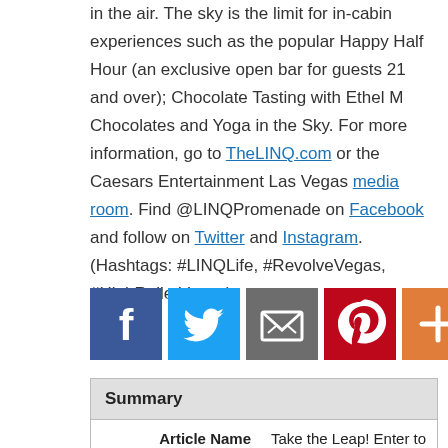in the air. The sky is the limit for in-cabin experiences such as the popular Happy Half Hour (an exclusive open bar for guests 21 and over); Chocolate Tasting with Ethel M Chocolates and Yoga in the Sky. For more information, go to TheLINQ.com or the Caesars Entertainment Las Vegas media room. Find @LINQPromenade on Facebook and follow on Twitter and Instagram. (Hashtags: #LINQLife, #RevolveVegas, #HighRollerVegas)
[Figure (other): Social sharing icons: Facebook (blue), Twitter (blue), Email/share (grey), Pinterest (red), More/plus (orange)]
| Summary |
| --- |
| Article Name | Take the Leap! Enter to Win a Leap Day Wedding Experience with FLY LINQ Zip Line, High Roller and ... |